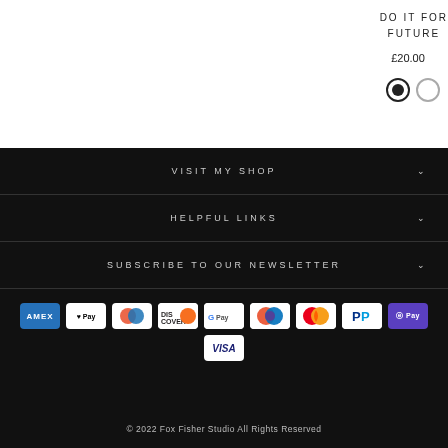DO IT FOR THE FUTURE
£20.00
VISIT MY SHOP
HELPFUL LINKS
SUBSCRIBE TO OUR NEWSLETTER
[Figure (other): Payment method icons: Amex, Apple Pay, Diners, Discover, Google Pay, Maestro, Mastercard, PayPal, Shop Pay, Visa]
© 2022 Fox Fisher Studio All Rights Reserved